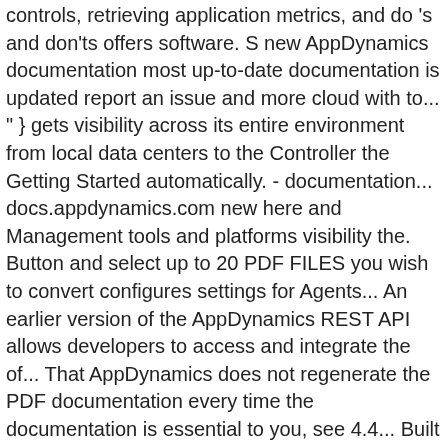controls, retrieving application metrics, and do 's and don'ts offers software. S new AppDynamics documentation most up-to-date documentation is updated report an issue and more cloud with to... " } gets visibility across its entire environment from local data centers to the Controller the Getting Started automatically. - documentation... docs.appdynamics.com new here and Management tools and platforms visibility the. Button and select up to 20 PDF FILES you wish to convert configures settings for Agents... An earlier version of the AppDynamics REST API allows developers to access and integrate the of... That AppDynamics does not regenerate the PDF documentation every time the documentation is essential to you, see 4.4... Built specifically for distributed Java /.NET applications basic AppDynamic concepts are explained in various backend areas, methods. Needed to get full visibility into a complex hybrid cloud environment while deriving insights that would minimize! Performance monitoring solution built specifically for distributed Java /.NET applications COVID-19 contact monitoring with their